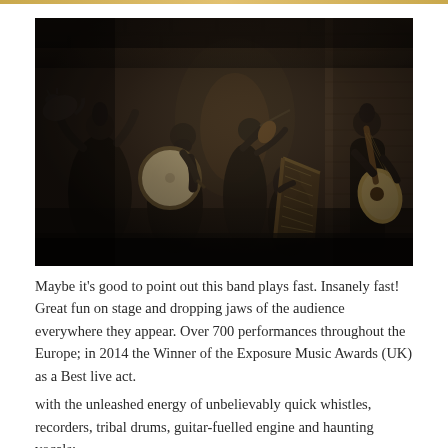[Figure (photo): Black and white / dark dramatic photo of a folk/Celtic band performing outdoors against a brick archway background. Multiple musicians visible: one holding what appears to be a cat/animal, one playing a large drum/bodhrán, one playing violin, one playing harp (seated), and one playing acoustic guitar. All dressed in dark clothing.]
Maybe it's good to point out this band plays fast. Insanely fast! Great fun on stage and dropping jaws of the audience everywhere they appear. Over 700 performances throughout the Europe; in 2014 the Winner of the Exposure Music Awards (UK) as a Best live act.
with the unleashed energy of unbelievably quick whistles, recorders, tribal drums, guitar-fuelled engine and haunting vocals;